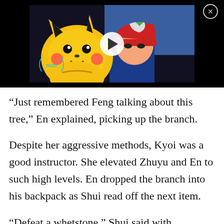[Figure (screenshot): Video thumbnail showing Pikachu and Ash from Pokemon anime with a play button overlay and WatchMojo logo badge. Black background surrounds the video frame.]
“Just remembered Feng talking about this tree,” En explained, picking up the branch.
Despite her aggressive methods, Kyoi was a good instructor. She elevated Zhuyu and En to such high levels. En dropped the branch into his backpack as Shui read off the next item.
“Defeat a whetstone,” Shui said with confusion.